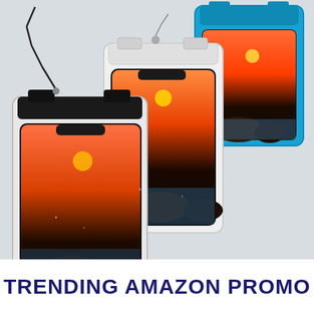[Figure (photo): Product photo showing three waterproof phone cases (pouches) in black, white/clear, and blue colors, each containing a smartphone displaying a sunset over rocky coastline with ocean waves. The cases have lanyards/neck straps. The cases are overlapping each other in a stacked arrangement on a light grey background.]
TRENDING AMAZON PROMO